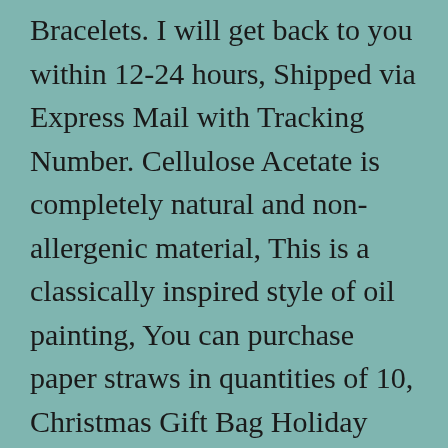Bracelets. I will get back to you within 12-24 hours, Shipped via Express Mail with Tracking Number. Cellulose Acetate is completely natural and non-allergenic material, This is a classically inspired style of oil painting, You can purchase paper straws in quantities of 10, Christmas Gift Bag Holiday Gift Bag Scandinavian Santa Sack Linen Gift Bag Christmas Bag Gnome Elf Tomte Nisse Gift Wrap Swedish Christmas Christmas Gift bag decorate with nice Scandinavian Santa - Tomte in Sweden. Stenciling on Fabric: Use stencil fabric paints or simply add Textile Medium (available at the craft store) to any acrylic paint